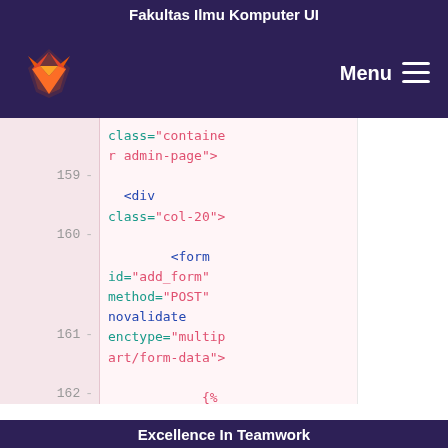Fakultas Ilmu Komputer UI
[Figure (screenshot): Navigation bar with GitLab fox logo on left and Menu hamburger icon on right, dark purple background]
class="container admin-page">
159  -
  <div class="col-20">
160  -
        <form id="add_form" method="POST" novalidate enctype="multipart/form-data">
161  -
            {% csrf_token %}
162  -
              <div class="col-md-
Excellence In Teamwork